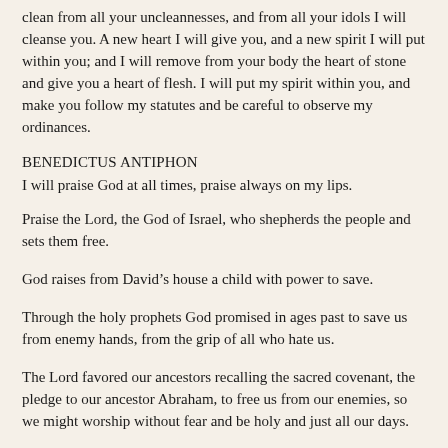clean from all your uncleannesses, and from all your idols I will cleanse you. A new heart I will give you, and a new spirit I will put within you; and I will remove from your body the heart of stone and give you a heart of flesh. I will put my spirit within you, and make you follow my statutes and be careful to observe my ordinances.
BENEDICTUS ANTIPHON
I will praise God at all times, praise always on my lips.
Praise the Lord, the God of Israel, who shepherds the people and sets them free.
God raises from David's house a child with power to save.
Through the holy prophets God promised in ages past to save us from enemy hands, from the grip of all who hate us.
The Lord favored our ancestors recalling the sacred covenant, the pledge to our ancestor Abraham, to free us from our enemies, so we might worship without fear and be holy and just all our days.